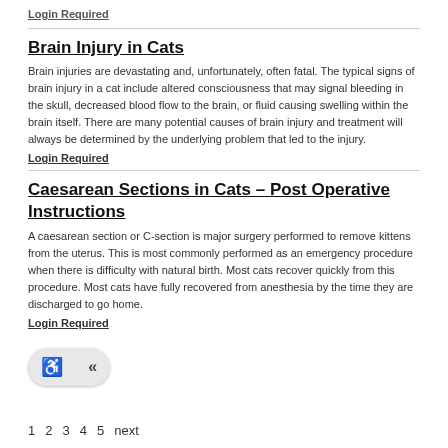Login Required
Brain Injury in Cats
Brain injuries are devastating and, unfortunately, often fatal. The typical signs of brain injury in a cat include altered consciousness that may signal bleeding in the skull, decreased blood flow to the brain, or fluid causing swelling within the brain itself. There are many potential causes of brain injury and treatment will always be determined by the underlying problem that led to the injury.
Login Required
Caesarean Sections in Cats – Post Operative Instructions
A caesarean section or C-section is major surgery performed to remove kittens from the uterus. This is most commonly performed as an emergency procedure when there is difficulty with natural birth. Most cats recover quickly from this procedure. Most cats have fully recovered from anesthesia by the time they are discharged to go home.
Login Required
1 2 3 4 5 next